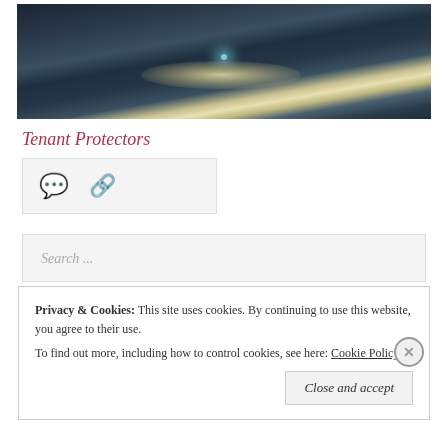[Figure (photo): Ocean/sea panoramic photo with dark stormy clouds and a glowing light reflection on the water surface]
Tenant Protectors
[Figure (infographic): Icon bar with a speech bubble icon and a chain/links icon on a light grey background]
[Figure (screenshot): Search input box with placeholder text 'Search ...']
Privacy & Cookies: This site uses cookies. By continuing to use this website, you agree to their use. To find out more, including how to control cookies, see here: Cookie Policy
Close and accept